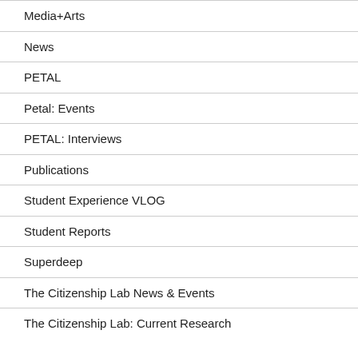Media+Arts
News
PETAL
Petal: Events
PETAL: Interviews
Publications
Student Experience VLOG
Student Reports
Superdeep
The Citizenship Lab News & Events
The Citizenship Lab: Current Research